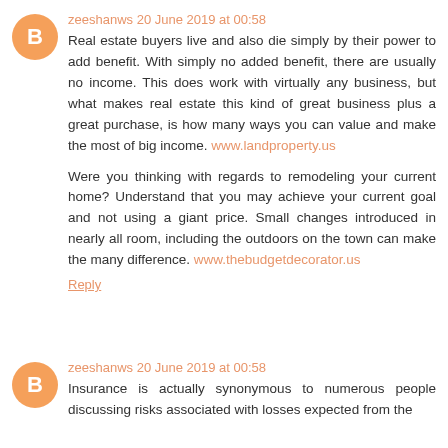zeeshanws 20 June 2019 at 00:58
Real estate buyers live and also die simply by their power to add benefit. With simply no added benefit, there are usually no income. This does work with virtually any business, but what makes real estate this kind of great business plus a great purchase, is how many ways you can value and make the most of big income. www.landproperty.us
Were you thinking with regards to remodeling your current home? Understand that you may achieve your current goal and not using a giant price. Small changes introduced in nearly all room, including the outdoors on the town can make the many difference. www.thebudgetdecorator.us
Reply
zeeshanws 20 June 2019 at 00:58
Insurance is actually synonymous to numerous people discussing risks associated with losses expected from the